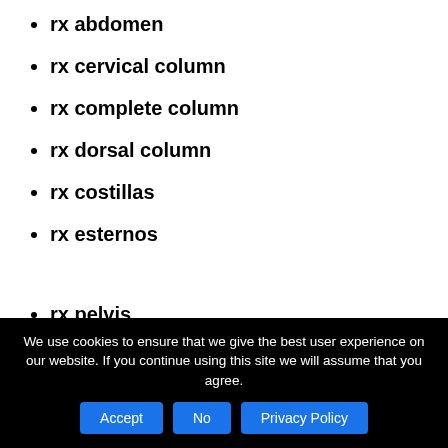rx abdomen
rx cervical column
rx complete column
rx dorsal column
rx costillas
rx esternos
rx pelvis
rx torax
rx arm
rx hip
rx codo
rx shoulder
We use cookies to ensure that we give the best user experience on our website. If you continue using this site we will assume that you agree.